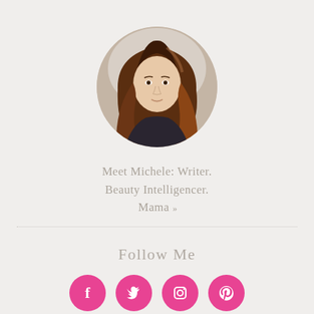[Figure (photo): Circular profile photo of a woman with long auburn/red wavy hair wearing a dark top, against a light background.]
Meet Michele: Writer. Beauty Intelligencer. Mama »
Follow Me
[Figure (infographic): Row of four pink circular social media icons: Facebook, Twitter, Instagram, Pinterest]